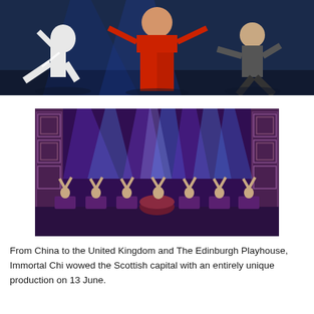[Figure (photo): Stage performance photo showing performers in martial arts poses. A central performer in red costume is flanked by performers in white and grey costumes against a dark blue stage background.]
[Figure (photo): Stage performance photo showing multiple performers seated at instruments/drums on a stage with dramatic purple and blue spotlights. Ornate Chinese-style architectural set pieces are visible in the background.]
From China to the United Kingdom and The Edinburgh Playhouse, Immortal Chi wowed the Scottish capital with an entirely unique production on 13 June.